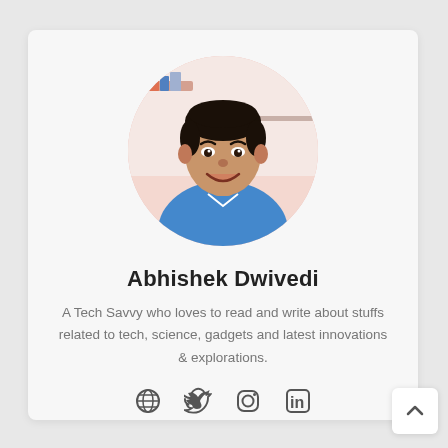[Figure (photo): Circular profile photo of Abhishek Dwivedi, a young man with dark hair wearing a blue shirt, smiling, with a light pink/white background behind him.]
Abhishek Dwivedi
A Tech Savvy who loves to read and write about stuffs related to tech, science, gadgets and latest innovations & explorations.
[Figure (illustration): Row of four social media icons: globe/website, Twitter bird, Instagram camera, LinkedIn 'in' icon.]